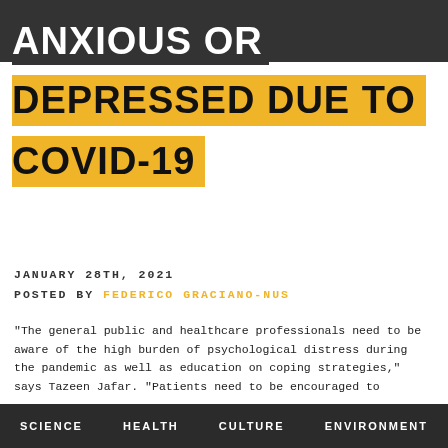ANXIOUS OR DEPRESSED DUE TO COVID-19
JANUARY 28TH, 2021
POSTED BY FEDERICO GRACIANO-NUS
"The general public and healthcare professionals need to be aware of the high burden of psychological distress during the pandemic as well as education on coping strategies," says Tazeen Jafar. "Patients need to be encouraged to
SCIENCE   HEALTH   CULTURE   ENVIRONMENT